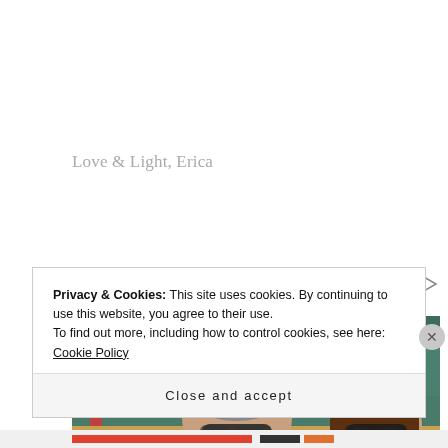Love & Light, Erica
Sponsored Content
[Figure (photo): Two people wearing sunglasses seated at what appears to be a sporting event (Wimbledon); man in a dark suit with tie on the left, woman with long brown hair on the right, green seats visible in background.]
Privacy & Cookies: This site uses cookies. By continuing to use this website, you agree to their use.
To find out more, including how to control cookies, see here: Cookie Policy
Close and accept